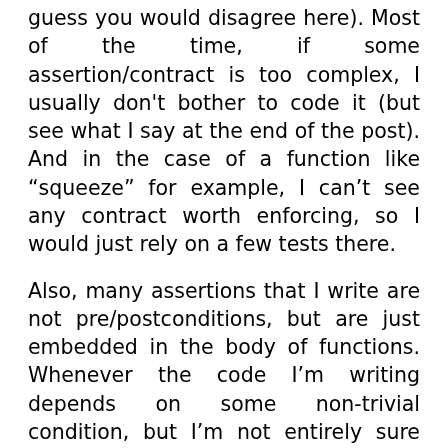guess you would disagree here). Most of the time, if some assertion/contract is too complex, I usually don't bother to code it (but see what I say at the end of the post). And in the case of a function like “squeeze” for example, I can’t see any contract worth enforcing, so I would just rely on a few tests there.
Also, many assertions that I write are not pre/postconditions, but are just embedded in the body of functions. Whenever the code I’m writing depends on some non-trivial condition, but I’m not entirely sure the surrounding code maintains it, I usually prefer to enforce it with an assertion.
Before writing this post I looked at some code I wrote recently that I believe can make a pretty good example, since it’s the kind of relatively complex algorithmical code that’s next to impossible for me to get right without some very serious testing. It’s the solutions to some (about 10 of them) of the puzzles posted by Facebook